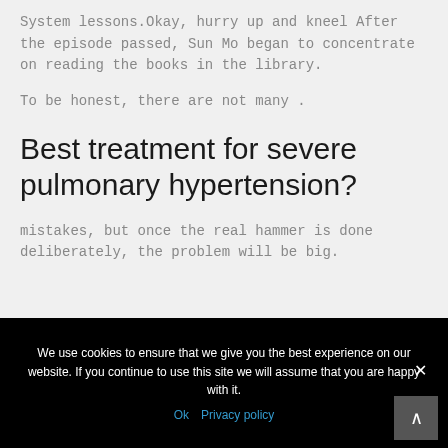System lessons.Okay, hurry up and kneel After the episode passed, Sun Mo began to concentrate on reading the books in the library.
To be honest, there are not many .
Best treatment for severe pulmonary hypertension?
mistakes, but once the real hammer is done deliberately, the problem will be big.
We use cookies to ensure that we give you the best experience on our website. If you continue to use this site we will assume that you are happy with it. Ok  Privacy policy